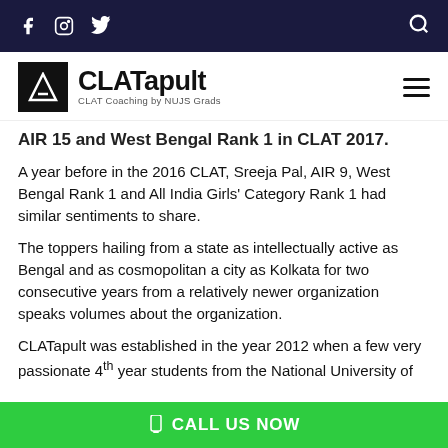Social media icons (Facebook, Instagram, Twitter) and search icon on dark navy bar
[Figure (logo): CLATapult logo with black box containing A icon, text 'CLATapult' and subtitle 'CLAT Coaching by NUJS Grads', hamburger menu on right]
AIR 15 and West Bengal Rank 1 in CLAT 2017.
A year before in the 2016 CLAT, Sreeja Pal, AIR 9, West Bengal Rank 1 and All India Girls' Category Rank 1 had similar sentiments to share.
The toppers hailing from a state as intellectually active as Bengal and as cosmopolitan a city as Kolkata for two consecutive years from a relatively newer organization speaks volumes about the organization.
CLATapult was established in the year 2012 when a few very passionate 4th year students from the National University of
CALL US NOW